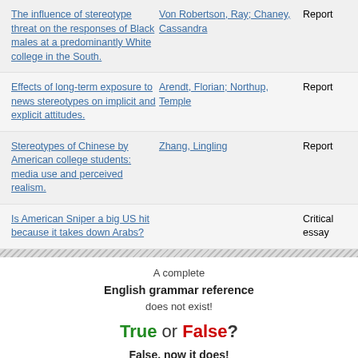The influence of stereotype threat on the responses of Black males at a predominantly White college in the South. | Von Robertson, Ray; Chaney, Cassandra | Report
Effects of long-term exposure to news stereotypes on implicit and explicit attitudes. | Arendt, Florian; Northup, Temple | Report
Stereotypes of Chinese by American college students: media use and perceived realism. | Zhang, Lingling | Report
Is American Sniper a big US hit because it takes down Arabs? | | Critical essay
A complete English grammar reference does not exist! True or False? False, now it does!